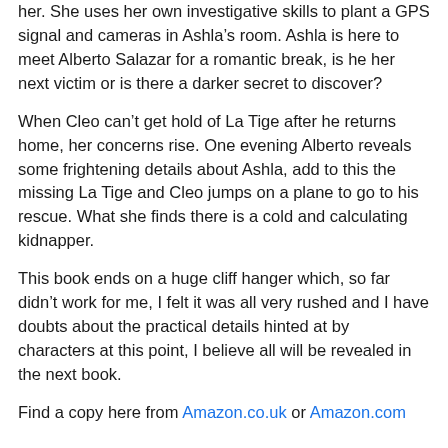her. She uses her own investigative skills to plant a GPS signal and cameras in Ashla's room. Ashla is here to meet Alberto Salazar for a romantic break, is he her next victim or is there a darker secret to discover?
When Cleo can't get hold of La Tige after he returns home, her concerns rise. One evening Alberto reveals some frightening details about Ashla, add to this the missing La Tige and Cleo jumps on a plane to go to his rescue. What she finds there is a cold and calculating kidnapper.
This book ends on a huge cliff hanger which, so far didn't work for me, I felt it was all very rushed and I have doubts about the practical details hinted at by characters at this point, I believe all will be revealed in the next book.
Find a copy here from Amazon.co.uk or Amazon.com